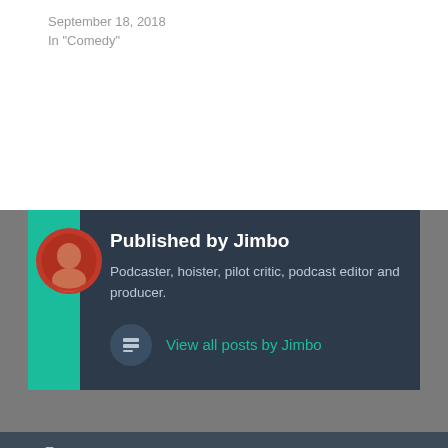September 18, 2018
In "Comedy"
Published by Jimbo
Podcaster, hoister, pilot critic, podcast editor and producer.
View all posts by Jimbo
Comedy, Not Hoist, Sitcom
Episode #17: The End of the F—ing World “Episode 1” with rapper Jake Drew
Episode #19: Alex Inc. “The Unfair Advantage” with magician Kier Gomes